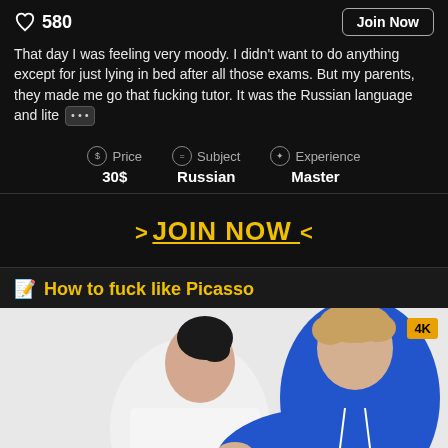580
Join Now
That day I was feeling very moody. I didn't want to do anything except for just lying in bed after all those exams. But my parents, they made me go that fucking tutor. It was the Russian language and lite [...]
| Price | Subject | Experience |
| --- | --- | --- |
| 30$ | Russian | Master |
> JOIN NOW <
How to fuck like Picasso
[Figure (photo): Two people, a woman in white shirt and a man in blue hoodie, appearing to interact closely]